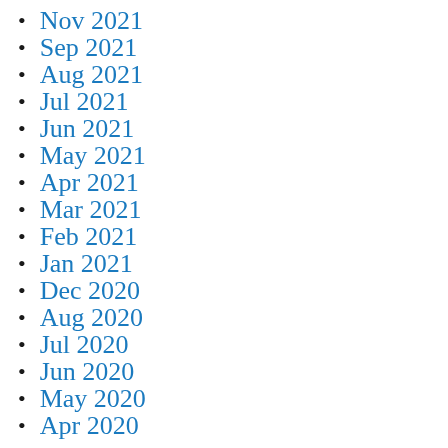Nov 2021
Sep 2021
Aug 2021
Jul 2021
Jun 2021
May 2021
Apr 2021
Mar 2021
Feb 2021
Jan 2021
Dec 2020
Aug 2020
Jul 2020
Jun 2020
May 2020
Apr 2020